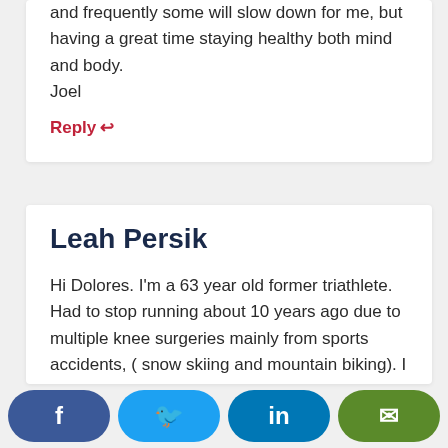and frequently some will slow down for me, but having a great time staying healthy both mind and body. Joel
Reply ↩
Leah Persik
Hi Dolores. I'm a 63 year old former triathlete. Had to stop running about 10 years ago due to multiple knee surgeries mainly from sports accidents, ( snow skiing and mountain biking). I have cut back substantially in
[Figure (other): Social share buttons bar: Facebook (blue), Twitter (light blue), LinkedIn (dark blue), Email (green)]